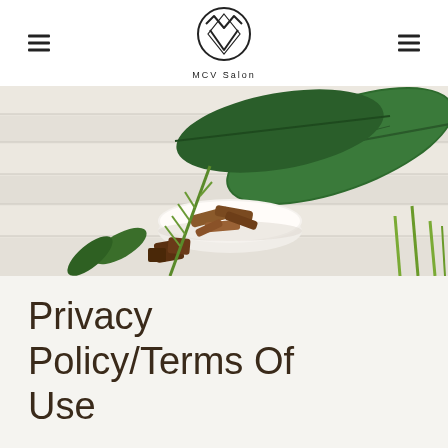MCV Salon
[Figure (photo): Overhead photo of herbs, green leaves, and dried spices/bark pieces in a white bowl on a white wooden surface]
Privacy Policy/Terms Of Use
Information we